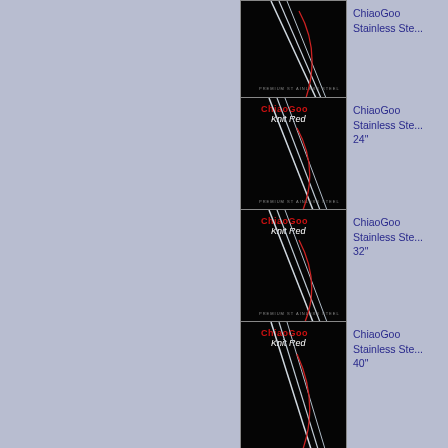[Figure (photo): ChiaoGoo Knit Red stainless steel circular knitting needles product image with black background, needles visible and 'PREMIUM STAINLESS STEEL' text at bottom]
ChiaoGoo Stainless Ste...
[Figure (photo): ChiaoGoo Knit Red stainless steel circular knitting needles product image, 24 inch, black background]
ChiaoGoo Stainless Ste... 24"
[Figure (photo): ChiaoGoo Knit Red stainless steel circular knitting needles product image, 32 inch, black background]
ChiaoGoo Stainless Ste... 32"
[Figure (photo): ChiaoGoo Knit Red stainless steel circular knitting needles product image, 40 inch, black background]
ChiaoGoo Stainless Ste... 40"